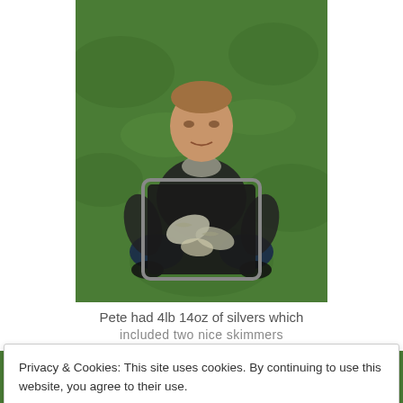[Figure (photo): A man crouching on a grassy hillside, holding open a large black net/bag containing fish (silvers). He is wearing a dark hoodie and jeans.]
Pete had 4lb 14oz of silvers which included two nice skimmers
[Figure (photo): Bottom partial photo showing another scene, partially obscured by cookie banner.]
Privacy & Cookies: This site uses cookies. By continuing to use this website, you agree to their use.
To find out more, including how to control cookies, see here: Cookie Policy